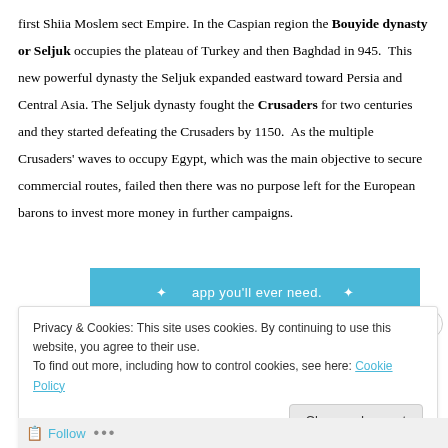first Shiia Moslem sect Empire. In the Caspian region the Bouyide dynasty or Seljuk occupies the plateau of Turkey and then Baghdad in 945. This new powerful dynasty the Seljuk expanded eastward toward Persia and Central Asia. The Seljuk dynasty fought the Crusaders for two centuries and they started defeating the Crusaders by 1150. As the multiple Crusaders' waves to occupy Egypt, which was the main objective to secure commercial routes, failed then there was no purpose left for the European barons to invest more money in further campaigns.
[Figure (screenshot): Blue banner with white text reading 'app you'll ever need.']
Privacy & Cookies: This site uses cookies. By continuing to use this website, you agree to their use.
To find out more, including how to control cookies, see here: Cookie Policy
Close and accept
Follow